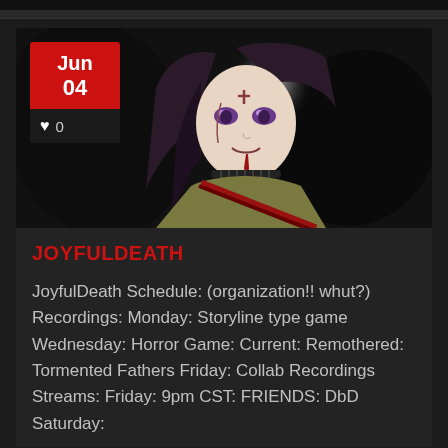[Figure (illustration): Anime-style illustration of a dark-haired girl with purple eyes, facial wounds/stitches, blood dripping from mouth, wearing a olive/khaki shirt with a red sash/slash across it, black wing-like dark background, white glowing orb behind head.]
JOYFULDEATH
JoyfulDeath Schedule: (organization!! whut?) Recordings: Monday: Storyline type game Wednesday: Horror Game: Current: Remothered: Tormented Fathers Friday: Collab Recordings Streams: Friday: 9pm CST: FRIENDS: DbD Saturday: